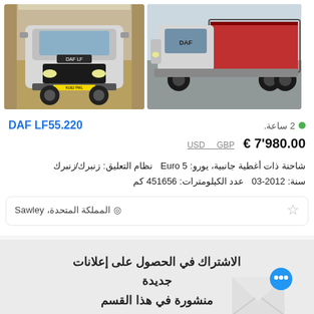[Figure (photo): Two photos of a DAF LF55.220 truck: left shows front view of white truck in warehouse, right shows side view of white truck with red curtain trailer outdoors]
DAF LF55.220
2 ساعة.
€ 7'980.00  GBP  USD
شاحنة ذات أغطية جانبية، يورو: Euro 5  نظام التعليق: زنبرك/زنبرك  سنة: 2012-03  عدد الكيلومترات: 451656 كم
المملكة المتحدة، Sawley ◉
الاشتراك في الحصول على إعلانات جديدة منشورة في هذا القسم
DAF  أوروبا